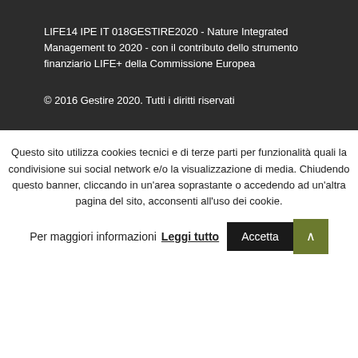LIFE14 IPE IT 018GESTIRE2020 - Nature Integrated Management to 2020 - con il contributo dello strumento finanziario LIFE+ della Commissione Europea
© 2016 Gestire 2020. Tutti i diritti riservati
Questo sito utilizza cookies tecnici e di terze parti per funzionalità quali la condivisione sui social network e/o la visualizzazione di media. Chiudendo questo banner, cliccando in un'area soprastante o accedendo ad un'altra pagina del sito, acconsenti all'uso dei cookie.
Per maggiori informazioni Leggi tutto